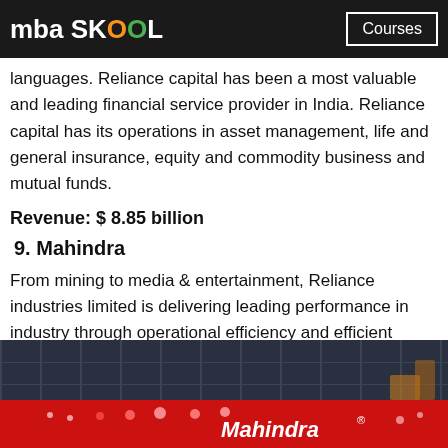mba SKOOL | Courses
languages. Reliance capital has been a most valuable and leading financial service provider in India. Reliance capital has its operations in asset management, life and general insurance, equity and commodity business and mutual funds.
Revenue: $ 8.85 billion
9. Mahindra
From mining to media & entertainment, Reliance industries limited is delivering leading performance in industry through operational efficiency and efficient utilization of resources.
[Figure (photo): Mahindra exhibition or showroom display with red banners and large glass panels, showing the Mahindra logo in white on a red background]